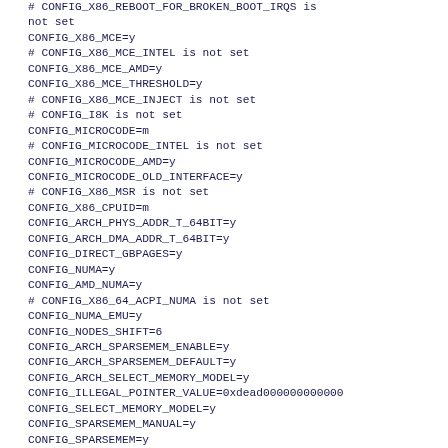# CONFIG_X86_REBOOT_FOR_BROKEN_BOOT_IRQS is not set
CONFIG_X86_MCE=y
# CONFIG_X86_MCE_INTEL is not set
CONFIG_X86_MCE_AMD=y
CONFIG_X86_MCE_THRESHOLD=y
# CONFIG_X86_MCE_INJECT is not set
# CONFIG_I8K is not set
CONFIG_MICROCODE=m
# CONFIG_MICROCODE_INTEL is not set
CONFIG_MICROCODE_AMD=y
CONFIG_MICROCODE_OLD_INTERFACE=y
# CONFIG_X86_MSR is not set
CONFIG_X86_CPUID=m
CONFIG_ARCH_PHYS_ADDR_T_64BIT=y
CONFIG_ARCH_DMA_ADDR_T_64BIT=y
CONFIG_DIRECT_GBPAGES=y
CONFIG_NUMA=y
CONFIG_AMD_NUMA=y
# CONFIG_X86_64_ACPI_NUMA is not set
CONFIG_NUMA_EMU=y
CONFIG_NODES_SHIFT=6
CONFIG_ARCH_SPARSEMEM_ENABLE=y
CONFIG_ARCH_SPARSEMEM_DEFAULT=y
CONFIG_ARCH_SELECT_MEMORY_MODEL=y
CONFIG_ILLEGAL_POINTER_VALUE=0xdead000000000000
CONFIG_SELECT_MEMORY_MODEL=y
CONFIG_SPARSEMEM_MANUAL=y
CONFIG_SPARSEMEM=y
CONFIG_NEED_MULTIPLE_NODES=y
CONFIG_HAVE_MEMORY_PRESENT=y